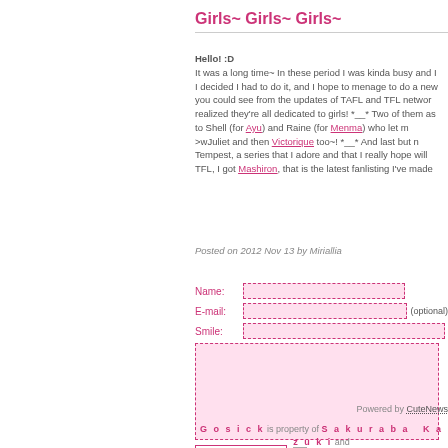Girls~ Girls~ Girls~
Hello! :D It was a long time~ In these period I was kinda busy and I decided I had to do it, and I hope to menage to do a new you could see from the updates of TAFL and TFL network realized they're all dedicated to girls! *__* Two of them as to Shell (for Ayu) and Raine (for Menma) who let m >wJuliet and then Victorique too~! *__* And last but n Tempest, a series that I adore and that I really hope will TFL, I got Mashiron, that is the latest fanlisting I've made
Posted on 2012 Nov 13 by Miriallia
Name:
E-mail:  (optional)
Smile:
Add My Comment  ☐ Remember Me
Captcha
Refresh
Powered by CuteNews
Gosick is property of Sakuraba Kazuki and contents are ©Miriallia do not steal, claim for